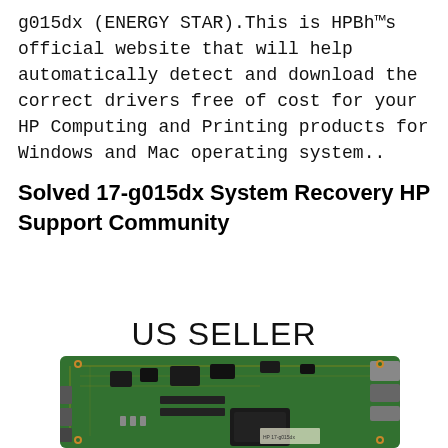g015dx (ENERGY STAR).This is HPBh™s official website that will help automatically detect and download the correct drivers free of cost for your HP Computing and Printing products for Windows and Mac operating system..
Solved 17-g015dx System Recovery HP Support Community
US SELLER
[Figure (photo): Photo of a laptop motherboard/PCB circuit board with green substrate, chips, connectors, and components visible. US SELLER text overlaid above it.]